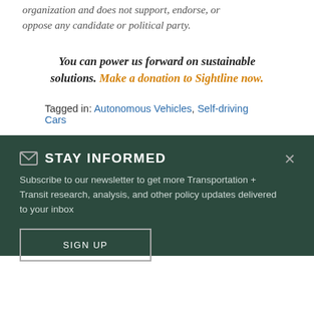Sightline Institute is a 501(c)3 non-profit organization and does not support, endorse, or oppose any candidate or political party.
You can power us forward on sustainable solutions. Make a donation to Sightline now.
Tagged in: Autonomous Vehicles, Self-driving Cars
STAY INFORMED
Subscribe to our newsletter to get more Transportation + Transit research, analysis, and other policy updates delivered to your inbox
SIGN UP